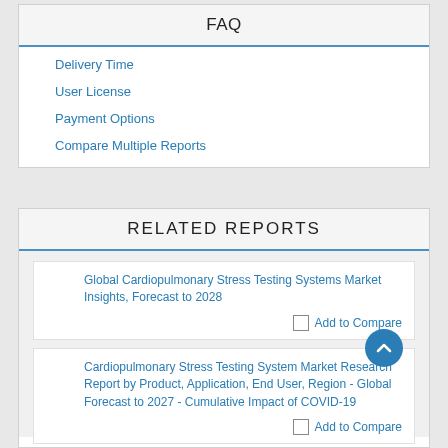FAQ
Delivery Time
User License
Payment Options
Compare Multiple Reports
RELATED REPORTS
Global Cardiopulmonary Stress Testing Systems Market Insights, Forecast to 2028
Add to Compare
Cardiopulmonary Stress Testing System Market Research Report by Product, Application, End User, Region - Global Forecast to 2027 - Cumulative Impact of COVID-19
Add to Compare